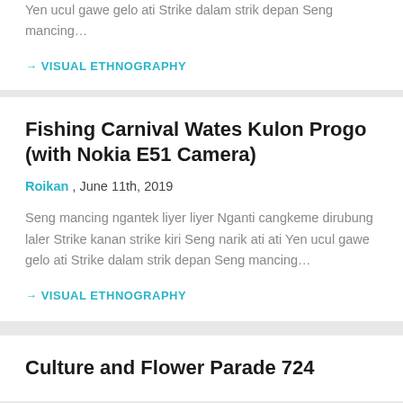Yen ucul gawe gelo ati Strike dalam strik depan Seng mancing...
→ VISUAL ETHNOGRAPHY
Fishing Carnival Wates Kulon Progo (with Nokia E51 Camera)
Roikan , June 11th, 2019
Seng mancing ngantek liyer liyer Nganti cangkeme dirubung laler Strike kanan strike kiri Seng narik ati ati Yen ucul gawe gelo ati Strike dalam strik depan Seng mancing...
→ VISUAL ETHNOGRAPHY
Culture and Flower Parade 724